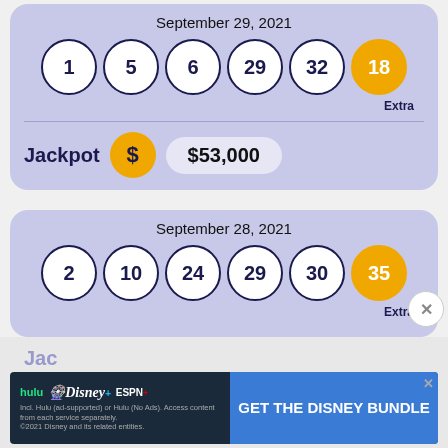September 29, 2021
[Figure (infographic): Lottery balls showing numbers 1, 5, 6, 29, 32 in white circles and 18 in gold circle labeled Extra]
Jackpot $53,000
September 28, 2021
[Figure (infographic): Lottery balls showing numbers 2, 10, 24, 29, 30 in white circles and 35 in gold circle labeled Extra]
[Figure (screenshot): Disney Bundle advertisement banner with hulu, Disney+, ESPN+ logos and GET THE DISNEY BUNDLE call to action]